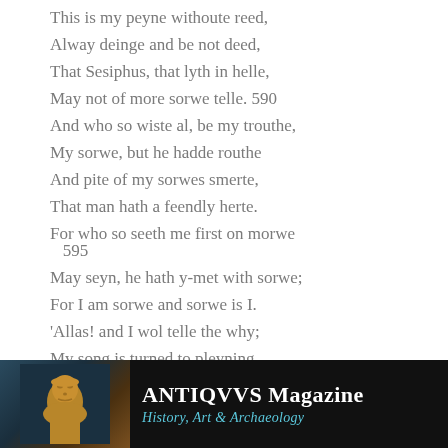This is my peyne withoute reed,
Alway deinge and be not deed,
That Sesiphus, that lyth in helle,
May not of more sorwe telle. 590
And who so wiste al, be my trouthe,
My sorwe, but he hadde routhe
And pite of my sorwes smerte,
That man hath a feendly herte.
For who so seeth me first on morwe 595
May seyn, he hath y-met with sorwe;
For I am sorwe and sorwe is I.
'Allas! and I wol telle the why;
My song is turned to pleyning,
[Figure (logo): ANTIQVVS Magazine banner with golden bust sculpture on dark background. Text reads 'ANTIQVVS Magazine' and 'History, Art & Archaeology' in teal/cyan color.]